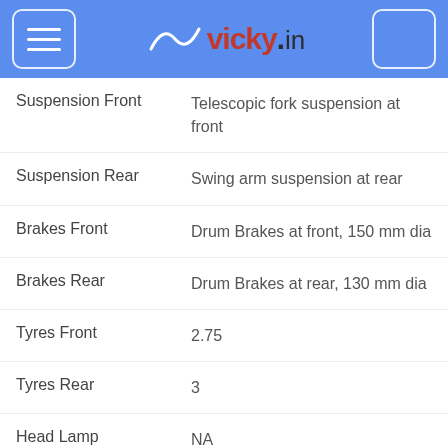vicky.in
| Attribute | Value |
| --- | --- |
| Suspension Front | Telescopic fork suspension at front |
| Suspension Rear | Swing arm suspension at rear |
| Brakes Front | Drum Brakes at front, 150 mm dia |
| Brakes Rear | Drum Brakes at rear, 130 mm dia |
| Tyres Front | 2.75 |
| Tyres Rear | 3 |
| Head Lamp | NA |